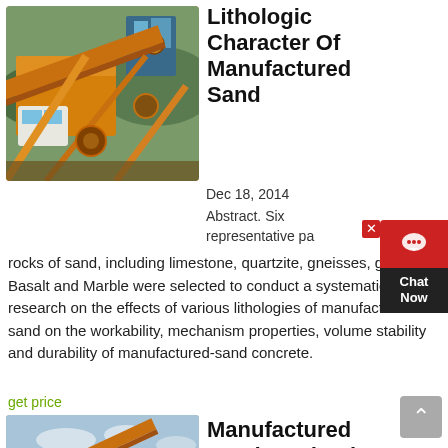[Figure (photo): Yellow industrial sand crushing/manufacturing machine with conveyor belts and equipment buildings, outdoor setting]
Lithologic Character Of Manufactured Sand
Dec 18, 2014
Abstract. Six representative parent rocks of sand, including limestone, quartzite, gneisses, granite, Basalt and Marble were selected to conduct a systematical research on the effects of various lithologies of manufactured sand on the workability, mechanism properties, volume stability and durability of manufactured-sand concrete.
get price
[Figure (photo): Yellow industrial manufactured sand production equipment with conveyor belts and structure, outdoor setting with sky]
Manufactured Sand Production TON
Manufactured sand production. The quality of fine ...